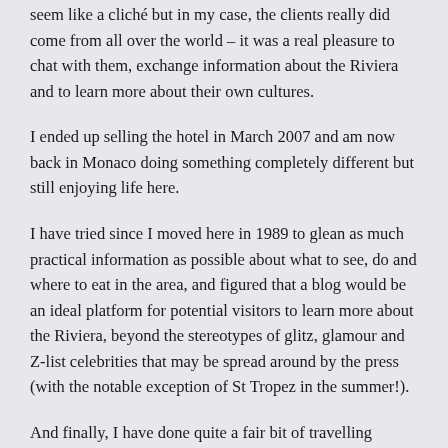seem like a cliché but in my case, the clients really did come from all over the world – it was a real pleasure to chat with them, exchange information about the Riviera and to learn more about their own cultures.
I ended up selling the hotel in March 2007 and am now back in Monaco doing something completely different but still enjoying life here.
I have tried since I moved here in 1989 to glean as much practical information as possible about what to see, do and where to eat in the area, and figured that a blog would be an ideal platform for potential visitors to learn more about the Riviera, beyond the stereotypes of glitz, glamour and Z-list celebrities that may be spread around by the press (with the notable exception of St Tropez in the summer!).
And finally, I have done quite a fair bit of travelling myself, all around the world. Some of these experiences will find their